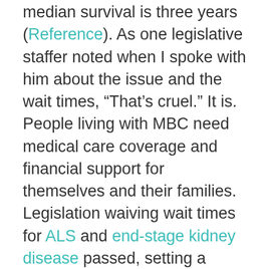median survival is three years (Reference). As one legislative staffer noted when I spoke with him about the issue and the wait times, “That’s cruel.” It is. People living with MBC need medical care coverage and financial support for themselves and their families. Legislation waiving wait times for ALS and end-stage kidney disease passed, setting a precedent for this important legislation supporting MBC.
Finally, reauthorization of the National Breast and Cervical Cancer Early Detection Program, will preserve and expand access to